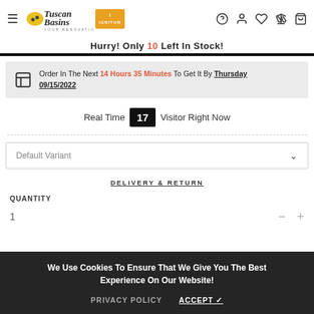Tuscan Basins — Navigation bar with logo, icons
Hurry! Only 10 Left In Stock!
Order In The Next 14 Hours 35 Minutes To Get It By Thursday 09/15/2022
Real Time 17 Visitor Right Now
Default Variant
DELIVERY & RETURN
QUANTITY
1
We Use Cookies To Ensure That We Give You The Best Experience On Our Website!
PRIVACY POLICY
ACCEPT ✓